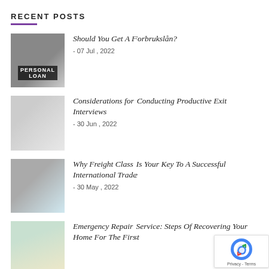RECENT POSTS
Should You Get A Forbrukslån? - 07 Jul , 2022
Considerations for Conducting Productive Exit Interviews - 30 Jun , 2022
Why Freight Class Is Your Key To A Successful International Trade - 30 May , 2022
Emergency Repair Service: Steps Of Recovering Your Home For The First